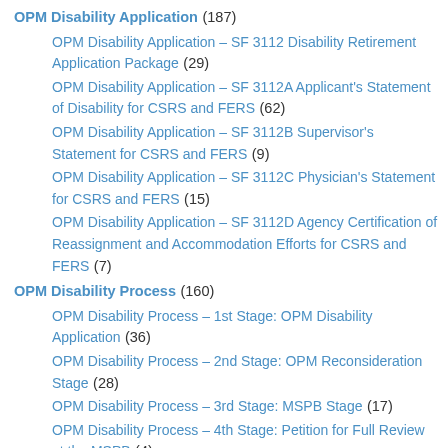OPM Disability Application (187)
OPM Disability Application – SF 3112 Disability Retirement Application Package (29)
OPM Disability Application – SF 3112A Applicant's Statement of Disability for CSRS and FERS (62)
OPM Disability Application – SF 3112B Supervisor's Statement for CSRS and FERS (9)
OPM Disability Application – SF 3112C Physician's Statement for CSRS and FERS (15)
OPM Disability Application – SF 3112D Agency Certification of Reassignment and Accommodation Efforts for CSRS and FERS (7)
OPM Disability Process (160)
OPM Disability Process – 1st Stage: OPM Disability Application (36)
OPM Disability Process – 2nd Stage: OPM Reconsideration Stage (28)
OPM Disability Process – 3rd Stage: MSPB Stage (17)
OPM Disability Process – 4th Stage: Petition for Full Review at the MSPB (4)
OPM Disability Process – 5th Stage: Federal Circuit Court of Appeals (2)